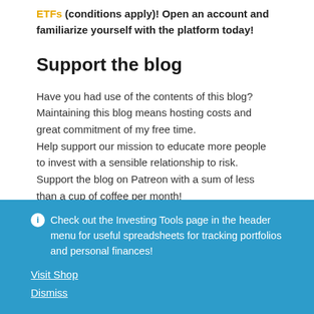ETFs (conditions apply)! Open an account and familiarize yourself with the platform today!
Support the blog
Have you had use of the contents of this blog? Maintaining this blog means hosting costs and great commitment of my free time. Help support our mission to educate more people to invest with a sensible relationship to risk. Support the blog on Patreon with a sum of less than a cup of coffee per month!
Check out the Investing Tools page in the header menu for useful spreadsheets for tracking portfolios and personal finances! Visit Shop Dismiss